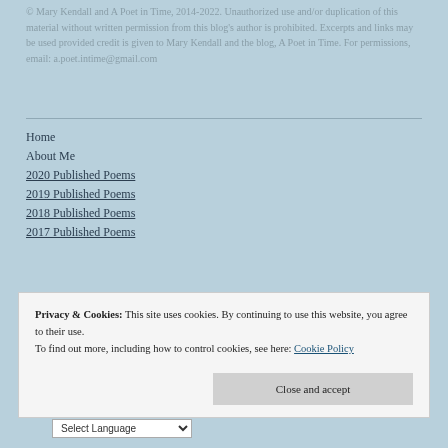© Mary Kendall and A Poet in Time, 2014-2022. Unauthorized use and/or duplication of this material without written permission from this blog's author is prohibited. Excerpts and links may be used provided credit is given to Mary Kendall and the blog, A Poet in Time. For permissions, email: a.poet.intime@gmail.com
Home
About Me
2020 Published Poems
2019 Published Poems
2018 Published Poems
2017 Published Poems
Privacy & Cookies: This site uses cookies. By continuing to use this website, you agree to their use. To find out more, including how to control cookies, see here: Cookie Policy
Close and accept
Select Language